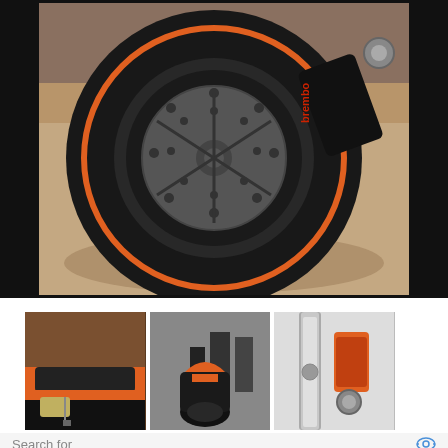[Figure (photo): Close-up photo of a motorcycle front wheel showing a black and orange rimmed tire with Brembo brake caliper and large disc brake rotor, set against a concrete floor background. Black bars on left and right sides of image.]
[Figure (photo): Row of three motorcycle thumbnail photos: left shows orange and black seat/tank detail, center shows rear view of motorcycle from above with orange accents, right shows orange and silver suspension/fork detail.]
Search for
1.   CHEAP BEST ELECTRIC BIKE
2.   BEST E BIKES 2022 OFFERS
Yahoo! Search | Sponsored